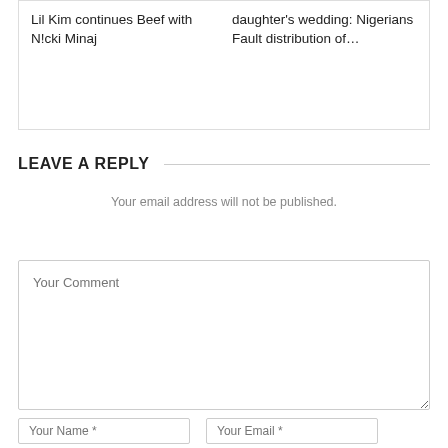Lil Kim continues Beef with N!cki Minaj
daughter's wedding: Nigerians Fault distribution of…
LEAVE A REPLY
Your email address will not be published.
Your Comment
Your Name *
Your Email *